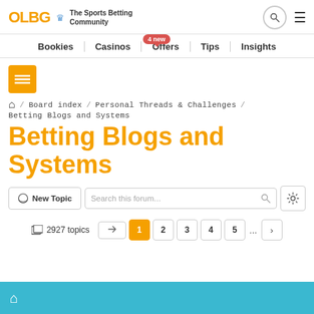OLBG The Sports Betting Community
Bookies | Casinos | Offers 4 new | Tips | Insights
[Figure (screenshot): Orange menu icon with two horizontal lines]
🏠 Board index / Personal Threads & Challenges / Betting Blogs and Systems
Betting Blogs and Systems
New Topic | Search this forum...
2927 topics  1 2 3 4 5 ... >